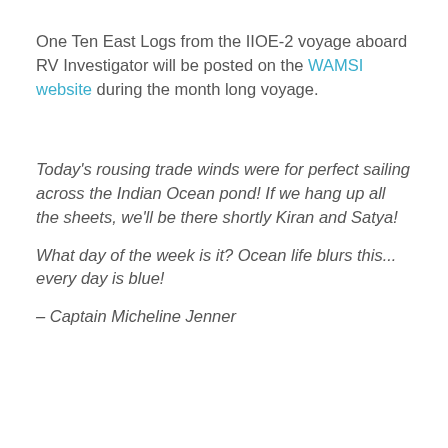One Ten East Logs from the IIOE-2 voyage aboard RV Investigator will be posted on the WAMSI website during the month long voyage.
Today's rousing trade winds were for perfect sailing across the Indian Ocean pond! If we hang up all the sheets, we'll be there shortly Kiran and Satya!
What day of the week is it? Ocean life blurs this... every day is blue!
– Captain Micheline Jenner